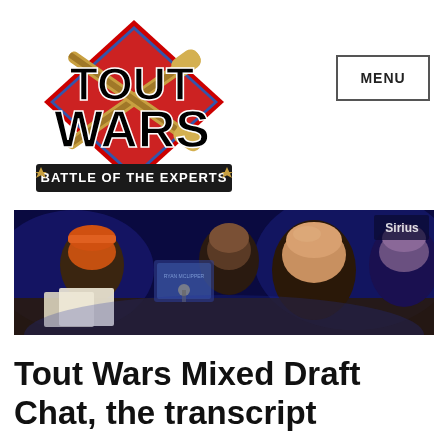[Figure (logo): Tout Wars: Battle of the Experts logo with crossed baseball bats and a diamond shape in red, white and blue]
MENU
[Figure (photo): Group of people sitting at a table during a fantasy baseball draft event, with blue lighting in the background and a Sirius radio logo visible]
Tout Wars Mixed Draft Chat, the transcript